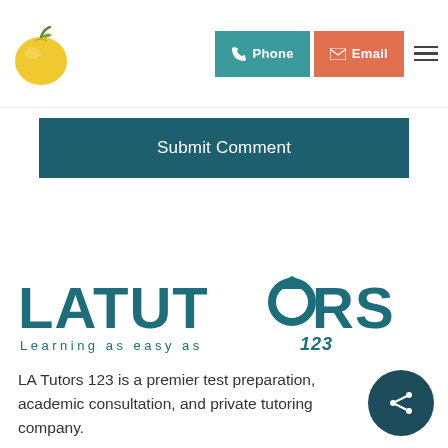[Figure (logo): Yellow apple logo icon for LA Tutors]
[Figure (other): Phone button (teal) and Email button (orange) navigation header buttons, with hamburger menu icon]
Submit Comment
[Figure (logo): LA Tutors 123 logo with graduation cap on letter O, tagline: Learning as easy as 123]
LA Tutors 123 is a premier test preparation, academic consultation, and private tutoring company.